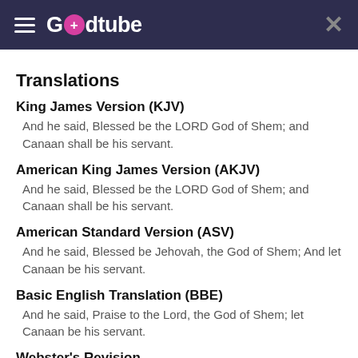Godtube
Translations
King James Version (KJV)
And he said, Blessed be the LORD God of Shem; and Canaan shall be his servant.
American King James Version (AKJV)
And he said, Blessed be the LORD God of Shem; and Canaan shall be his servant.
American Standard Version (ASV)
And he said, Blessed be Jehovah, the God of Shem; And let Canaan be his servant.
Basic English Translation (BBE)
And he said, Praise to the Lord, the God of Shem; let Canaan be his servant.
Webster's Revision
And he said, Blessed be the LORD God of Shem; and Canaan shall be his servant.